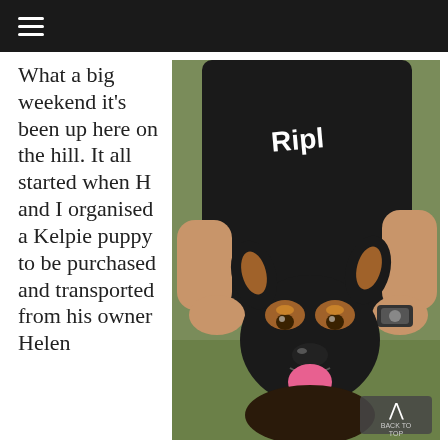≡
What a big weekend it's been up here on the hill. It all started when H and I organised a Kelpie puppy to be purchased and transported from his owner Helen
[Figure (photo): A person wearing a black t-shirt with graphic text, sitting on grass and holding a young black-and-tan Kelpie puppy that is smiling with tongue out. The person is wearing a watch.]